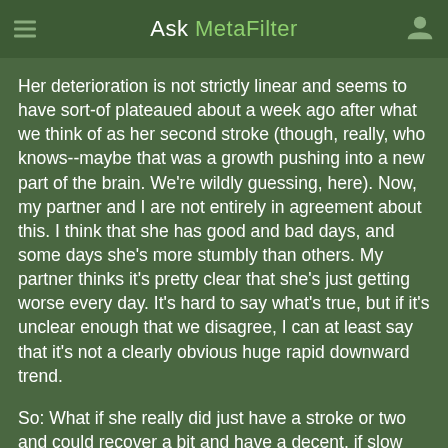Ask MetaFilter
Her deterioration is not strictly linear and seems to have sort-of plateaued about a week ago after what we think of as her second stroke (though, really, who knows--maybe that was a growth pushing into a new part of the brain. We're wildly guessing, here). Now, my partner and I are not entirely in agreement about this. I think that she has good and bad days, and some days she's more stumbly than others. My partner thinks it's pretty clear that she's just getting worse every day. It's hard to say what's true, but if it's unclear enough that we disagree, I can at least say that it's not a clearly obvious huge rapid downward trend.
So: What if she really did just have a stroke or two and could recover a bit and have a decent, if slow and a little messy, life for a few more months?